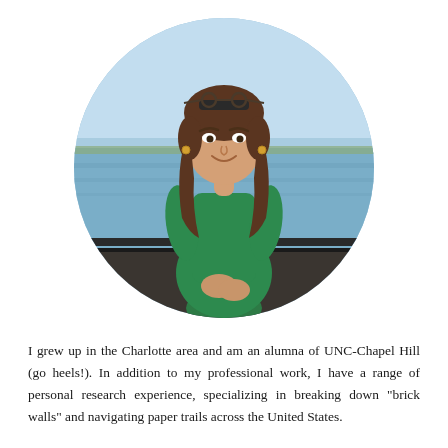[Figure (photo): Circular portrait photo of a young woman with long brown hair and sunglasses on top of her head, wearing a green dress, standing near a waterfront railing with water and sky in the background. She is smiling.]
I grew up in the Charlotte area and am an alumna of UNC-Chapel Hill (go heels!). In addition to my professional work, I have a range of personal research experience, specializing in breaking down "brick walls" and navigating paper trails across the United States.